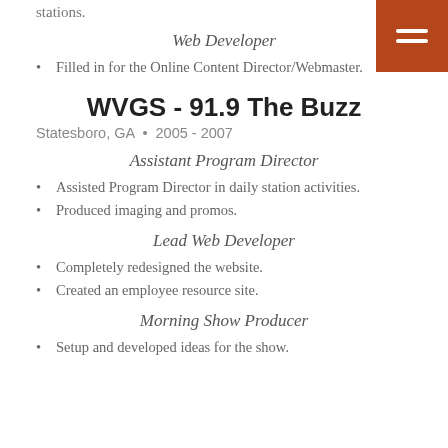stations.
[Figure (other): Orange hamburger menu button with two white horizontal bars]
Web Developer
Filled in for the Online Content Director/Webmaster.
WVGS - 91.9 The Buzz
Statesboro, GA • 2005 - 2007
Assistant Program Director
Assisted Program Director in daily station activities.
Produced imaging and promos.
Lead Web Developer
Completely redesigned the website.
Created an employee resource site.
Morning Show Producer
Setup and developed ideas for the show.